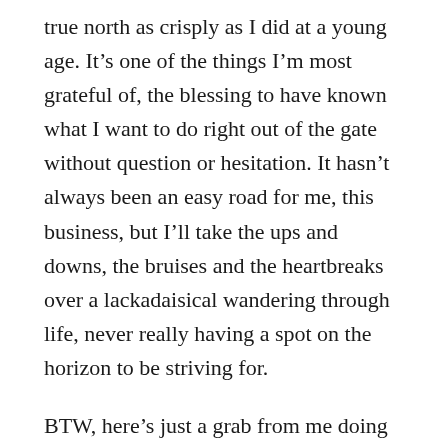true north as crisply as I did at a young age. It's one of the things I'm most grateful of, the blessing to have known what I want to do right out of the gate without question or hesitation. It hasn't always been an easy road for me, this business, but I'll take the ups and downs, the bruises and the heartbreaks over a lackadaisical wandering through life, never really having a spot on the horizon to be striving for.
BTW, here's just a grab from me doing St...